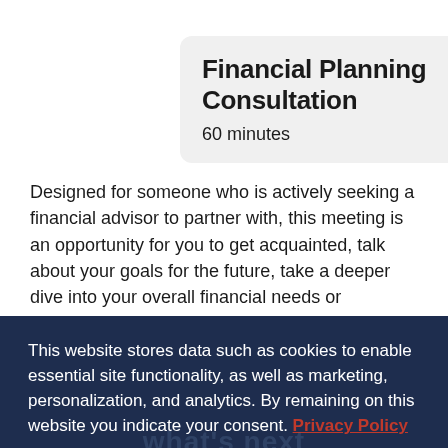Financial Planning Consultation
60 minutes
Designed for someone who is actively seeking a financial advisor to partner with, this meeting is an opportunity for you to get acquainted, talk about your goals for the future, take a deeper dive into your overall financial needs or concerns, and explore how we may be able to help you. That's it! No surprises, sales tactics, or pressure.
This website stores data such as cookies to enable essential site functionality, as well as marketing, personalization, and analytics. By remaining on this website you indicate your consent. Privacy Policy